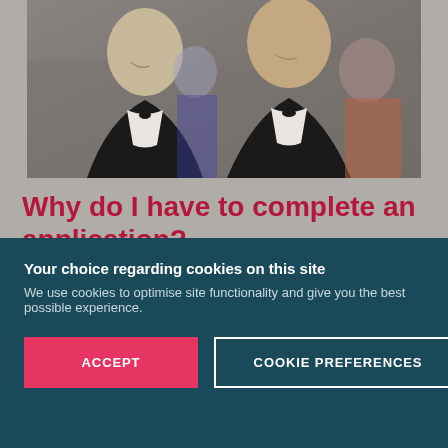[Figure (photo): Two men in black tuxedos with bow ties sitting at a table at a formal event, smiling at the camera. A woman in blue is visible in the background.]
Why do I have to complete an application?
We aim to create and maintain a diverse and balanced academic community. To achieve this we look for applicants from a range of academic disciplines and nationalities and we assess your
Your choice regarding cookies on this site
We use cookies to optimise site functionality and give you the best possible experience.
ACCEPT
COOKIE PREFERENCES